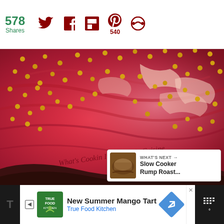578 Shares — social share bar with Twitter, Facebook, Flipboard, Pinterest (540), and other icon
[Figure (photo): Close-up of raw beef brisket or roast covered in mustard seeds, with watermark text 'What's Cookin Italian Style Cuisine']
[Figure (screenshot): Floating action buttons: teal heart/favorite button and white share button]
[Figure (screenshot): WHAT'S NEXT card showing thumbnail of Slow Cooker Rump Roast with text 'Slow Cooker Rump Roast...']
[Figure (screenshot): Advertisement bar at bottom: True Food Kitchen ad for 'New Summer Mango Tart', with green True Food Kitchen logo, blue text, navigation arrow icon, and weather widget on right]